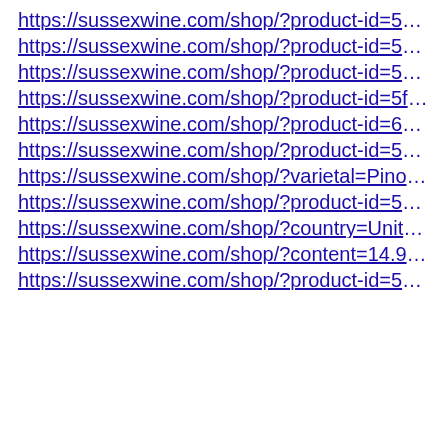https://sussexwine.com/shop/?product-id=5cbde538b7cf…
https://sussexwine.com/shop/?product-id=5bf0497a43c0…
https://sussexwine.com/shop/?product-id=5a85ac51baa7…
https://sussexwine.com/shop/?product-id=5f3fe00900ad…
https://sussexwine.com/shop/?product-id=605ba9db848…
https://sussexwine.com/shop/?product-id=590bcfc278c8…
https://sussexwine.com/shop/?varietal=Pinot%20Noir
https://sussexwine.com/shop/?product-id=5865412bbfb2…
https://sussexwine.com/shop/?country=United%20King…
https://sussexwine.com/shop/?content=14.9%25
https://sussexwine.com/shop/?product-id=59b949300da…